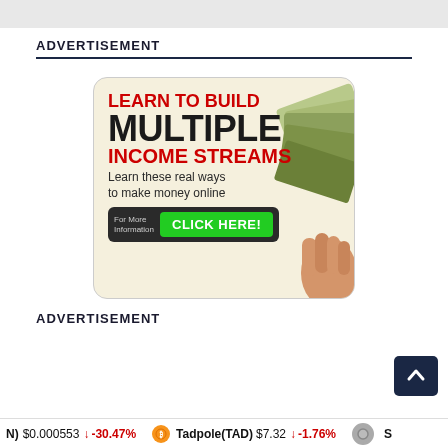ADVERTISEMENT
[Figure (illustration): Advertisement banner: 'LEARN TO BUILD MULTIPLE INCOME STREAMS - Learn these real ways to make money online - CLICK HERE!' with an image of fanned dollar bills and a green click button on dark background.]
ADVERTISEMENT
(N) $0.000553 ↓ -30.47% Tadpole(TAD) $7.32 ↓ -1.76% S